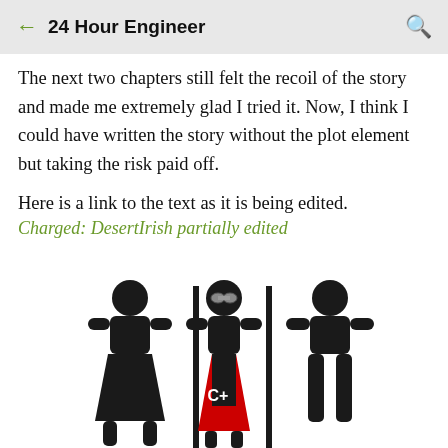24 Hour Engineer
The next two chapters still felt the recoil of the story and made me extremely glad I tried it. Now, I think I could have written the story without the plot element but taking the risk paid off.
Here is a link to the text as it is being edited.
Charged: DesertIrish partially edited
[Figure (illustration): Three stick figures representing bathroom gender symbols. Left figure is female (skirt), center figure appears to be a superhero variant with a red cape and C+ label and goggles, right figure is male. Separated by vertical black bars.]